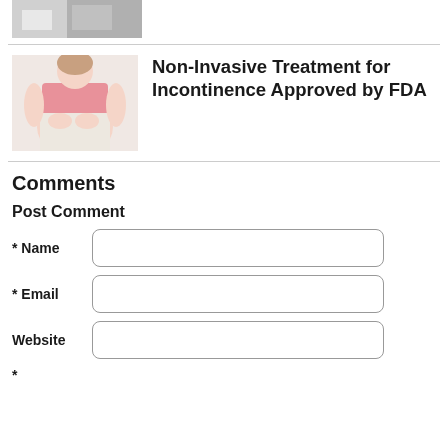[Figure (photo): Small photo showing medical/clinical items on a table, partially cropped at top]
[Figure (photo): Woman in pink top sitting, holding her midsection, suggesting incontinence discomfort]
Non-Invasive Treatment for Incontinence Approved by FDA
Comments
Post Comment
* Name
* Email
Website
*